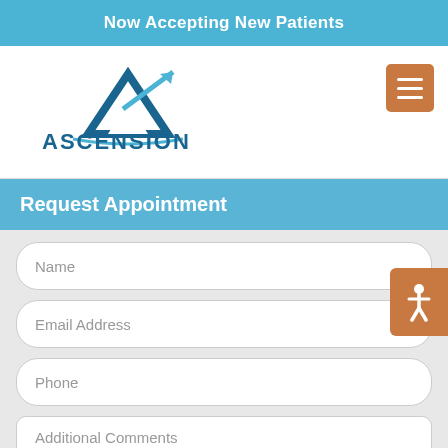Now Accepting New Patients
[Figure (logo): Ascension Pain Specialists logo with mountain/arrow graphic and text]
Request Appointment
Name
Email Address
Phone
Additional Comments